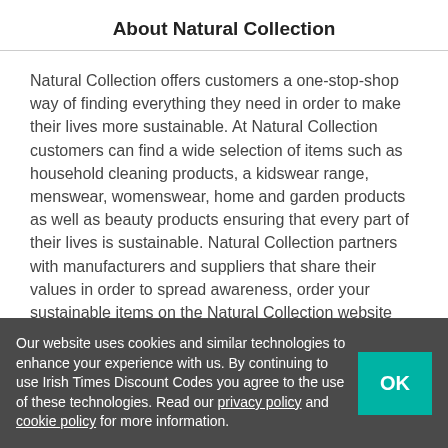About Natural Collection
Natural Collection offers customers a one-stop-shop way of finding everything they need in order to make their lives more sustainable. At Natural Collection customers can find a wide selection of items such as household cleaning products, a kidswear range, menswear, womenswear, home and garden products as well as beauty products ensuring that every part of their lives is sustainable. Natural Collection partners with manufacturers and suppliers that share their values in order to spread awareness, order your sustainable items on the Natural Collection website and have them delivered to your door no matter where you are in Ireland.
Our website uses cookies and similar technologies to enhance your experience with us. By continuing to use Irish Times Discount Codes you agree to the use of these technologies. Read our privacy policy and cookie policy for more information.